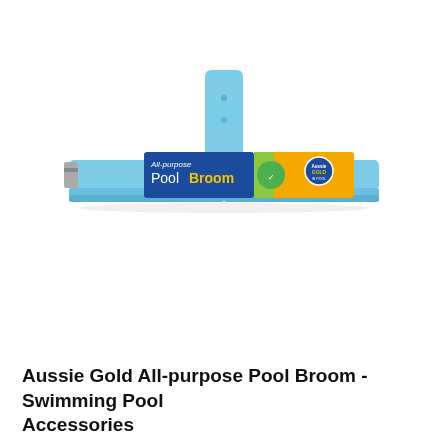[Figure (photo): Aussie Gold All-purpose Pool Broom product image. A light blue T-shaped pool broom with a vertical handle connector at top and a wide horizontal brush head. A product label in the center reads 'All-purpose Pool Broom' in blue and gold branding with the Aussie Gold logo.]
Aussie Gold All-purpose Pool Broom - Swimming Pool Accessories